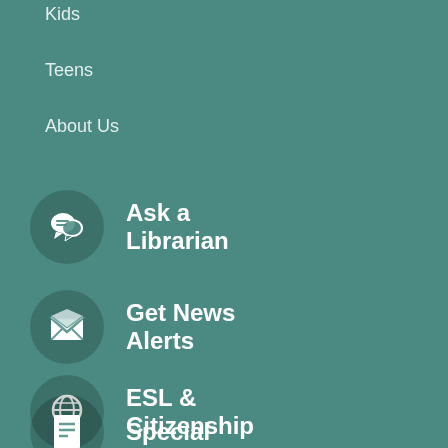Kids
Teens
About Us
Ask a Librarian
Get News Alerts
ESL & Citizenship
Special